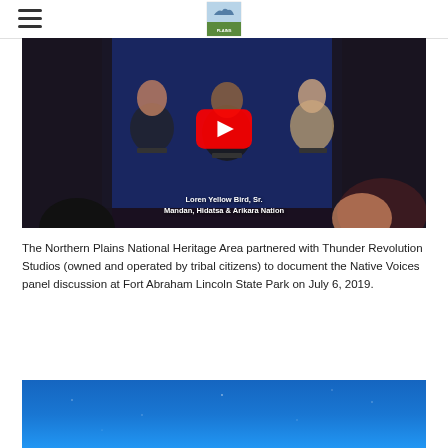Northern Plains National Heritage Area logo and navigation
[Figure (screenshot): YouTube video thumbnail showing a panel discussion with multiple people seated on a stage with blue curtain backdrop. A YouTube play button overlay is centered on the image. Text overlay reads: Loren Yellow Bird, Sr. / Mandan, Hidatsa & Arikara Nation]
The Northern Plains National Heritage Area partnered with Thunder Revolution Studios (owned and operated by tribal citizens) to document the Native Voices panel discussion at Fort Abraham Lincoln State Park on July 6, 2019.
[Figure (photo): Partially visible photo with deep blue sky or background, bottom portion of page]